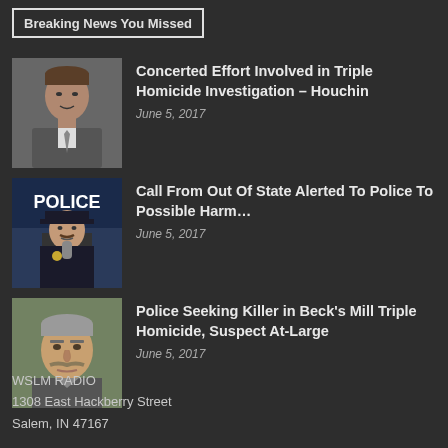Breaking News You Missed
[Figure (photo): Headshot of a man in a suit and tie, smiling, professional photo]
Concerted Effort Involved in Triple Homicide Investigation – Houchin
June 5, 2017
[Figure (photo): Police officer at a podium with a POLICE banner in the background]
Call From Out Of State Alerted To Police To Possible Harm…
June 5, 2017
[Figure (photo): Mugshot style photo of an older man with a mustache]
Police Seeking Killer in Beck's Mill Triple Homicide, Suspect At-Large
June 5, 2017
WSLM RADIO
1308 East Hackberry Street
Salem, IN 47167